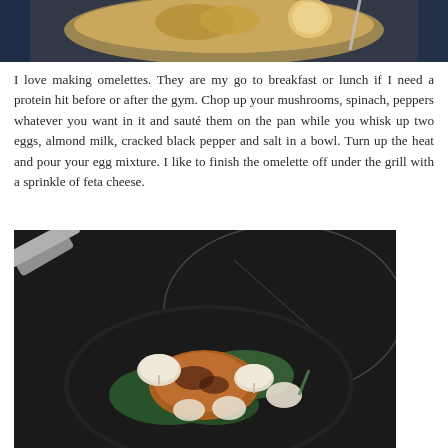[Figure (photo): Top portion of a photo showing a bowl of food (omelette with vegetables and possibly fruit) on a blue surface, partially cropped]
I love making omelettes. They are my go to breakfast or lunch if I need a protein hit before or after the gym. Chop up your mushrooms, spinach, peppers whatever you want in it and sauté them on the pan while you whisk up two eggs, almond milk, cracked black pepper and salt in a bowl. Turn up the heat and pour your egg mixture. I like to finish the omelette off under the grill with a sprinkle of feta cheese.
[Figure (photo): Overhead photo of a dark frying pan on a black induction cooktop containing a cooked omelette or chicken piece with mushrooms and spinach/greens]